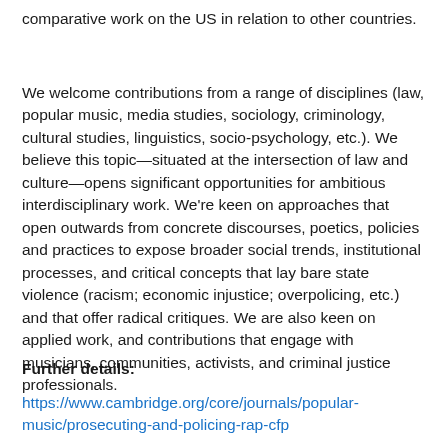comparative work on the US in relation to other countries.
We welcome contributions from a range of disciplines (law, popular music, media studies, sociology, criminology, cultural studies, linguistics, socio-psychology, etc.). We believe this topic—situated at the intersection of law and culture—opens significant opportunities for ambitious interdisciplinary work. We're keen on approaches that open outwards from concrete discourses, poetics, policies and practices to expose broader social trends, institutional processes, and critical concepts that lay bare state violence (racism; economic injustice; overpolicing, etc.) and that offer radical critiques. We are also keen on applied work, and contributions that engage with musicians, communities, activists, and criminal justice professionals.
Further details:
https://www.cambridge.org/core/journals/popular-music/prosecuting-and-policing-rap-cfp